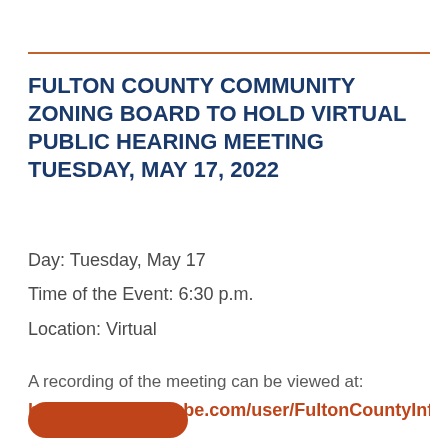FULTON COUNTY COMMUNITY ZONING BOARD TO HOLD VIRTUAL PUBLIC HEARING MEETING TUESDAY, MAY 17, 2022
Day: Tuesday, May 17
Time of the Event: 6:30 p.m.
Location: Virtual
A recording of the meeting can be viewed at:
https://www.youtube.com/user/FultonCountyInfo